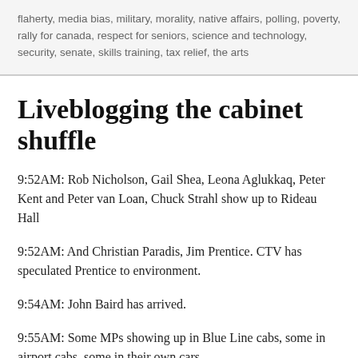flaherty, media bias, military, morality, native affairs, polling, poverty, rally for canada, respect for seniors, science and technology, security, senate, skills training, tax relief, the arts
Liveblogging the cabinet shuffle
9:52AM: Rob Nicholson, Gail Shea, Leona Aglukkaq, Peter Kent and Peter van Loan, Chuck Strahl show up to Rideau Hall
9:52AM: And Christian Paradis, Jim Prentice. CTV has speculated Prentice to environment.
9:54AM: John Baird has arrived.
9:55AM: Some MPs showing up in Blue Line cabs, some in airport cabs, some in their own cars.